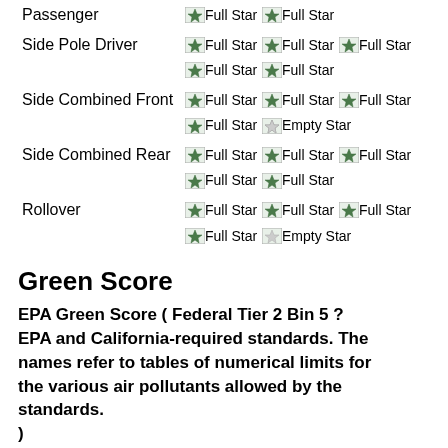| Category | Stars |
| --- | --- |
| Passenger | Full Star Full Star |
| Side Pole Driver | Full Star Full Star Full Star Full Star Full Star |
| Side Combined Front | Full Star Full Star Full Star Full Star Empty Star |
| Side Combined Rear | Full Star Full Star Full Star Full Star Full Star |
| Rollover | Full Star Full Star Full Star Full Star Empty Star |
Green Score
EPA Green Score ( Federal Tier 2 Bin 5 ? EPA and California-required standards. The names refer to tables of numerical limits for the various air pollutants allowed by the standards.
)